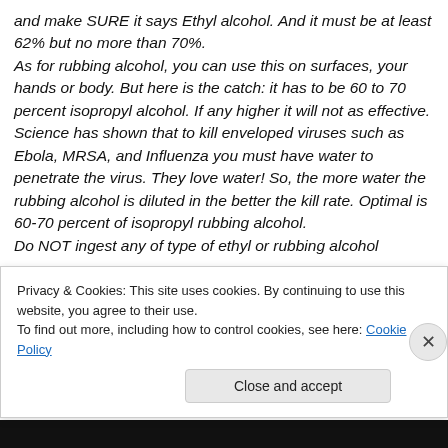and make SURE it says Ethyl alcohol. And it must be at least 62% but no more than 70%. As for rubbing alcohol, you can use this on surfaces, your hands or body. But here is the catch: it has to be 60 to 70 percent isopropyl alcohol. If any higher it will not as effective. Science has shown that to kill enveloped viruses such as Ebola, MRSA, and Influenza you must have water to penetrate the virus. They love water! So, the more water the rubbing alcohol is diluted in the better the kill rate. Optimal is 60-70 percent of isopropyl rubbing alcohol. Do NOT ingest any of type of ethyl or rubbing alcohol
Privacy & Cookies: This site uses cookies. By continuing to use this website, you agree to their use. To find out more, including how to control cookies, see here: Cookie Policy
Close and accept